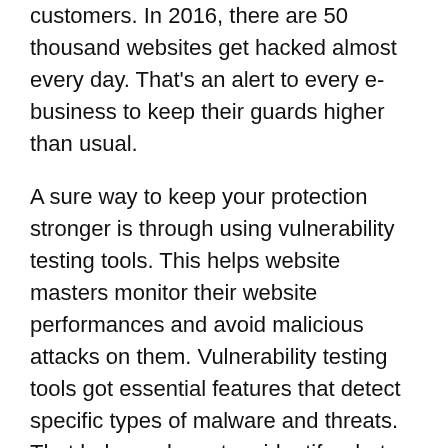customers. In 2016, there are 50 thousand websites get hacked almost every day. That's an alert to every e-business to keep their guards higher than usual.
A sure way to keep your protection stronger is through using vulnerability testing tools. This helps website masters monitor their website performances and avoid malicious attacks on them. Vulnerability testing tools got essential features that detect specific types of malware and threats. That helps webmasters identify what kind of protection they need. It's better to prevent these threats rather than dealing with the damages caused by malware.
Vulnerability testing tools are needed for small and medium enterprises (SMEs), because they're still developing and growing. They must be using a free...